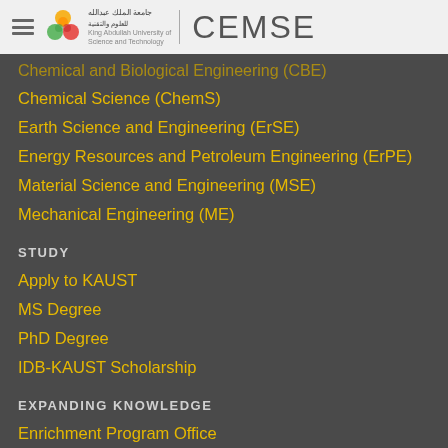CEMSE
Chemical and Biological Engineering (CBE)
Chemical Science (ChemS)
Earth Science and Engineering (ErSE)
Energy Resources and Petroleum Engineering (ErPE)
Material Science and Engineering (MSE)
Mechanical Engineering (ME)
STUDY
Apply to KAUST
MS Degree
PhD Degree
IDB-KAUST Scholarship
EXPANDING KNOWLEDGE
Enrichment Program Office
Alumni Affairs
KAUST Library